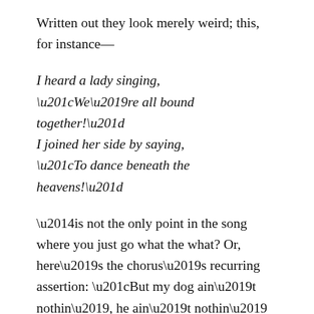Written out they look merely weird; this, for instance—
I heard a lady singing,
“We’re all bound together!”
I joined her side by saying,
“To dance beneath the heavens!”
—is not the only point in the song where you just go what the what? Or, here’s the chorus’s recurring assertion: “But my dog ain’t nothin’, he ain’t nothin’ like my lover/Ain’t nothin’ like my lover at all.” This dude is operating from foreign coordinates, and I don’t mean merely the fact that he splits his time between Nebraska and Utah.